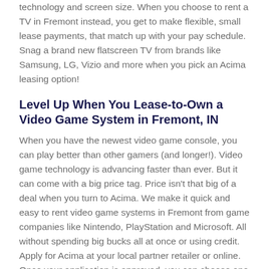technology and screen size. When you choose to rent a TV in Fremont instead, you get to make flexible, small lease payments, that match up with your pay schedule. Snag a brand new flatscreen TV from brands like Samsung, LG, Vizio and more when you pick an Acima leasing option!
Level Up When You Lease-to-Own a Video Game System in Fremont, IN
When you have the newest video game console, you can play better than other gamers (and longer!). Video game technology is advancing faster than ever. But it can come with a big price tag. Price isn't that big of a deal when you turn to Acima. We make it quick and easy to rent video game systems in Fremont from game companies like Nintendo, PlayStation and Microsoft. All without spending big bucks all at once or using credit. Apply for Acima at your local partner retailer or online. Once your application is approved, you can choose one of our flexible, small payment options, grab the gaming console you've always wanted, and flex your gaming